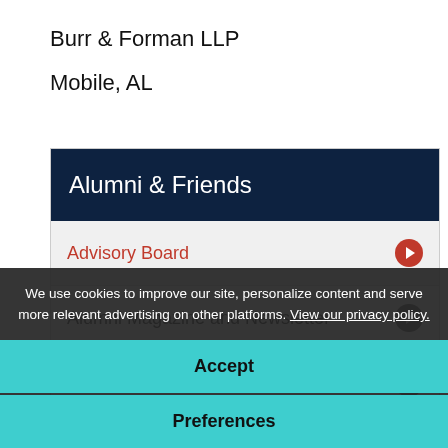Burr & Forman LLP
Mobile, AL
Alumni & Friends
Advisory Board
Alumni Magazine and Newsletter
Career Development
Employers
We use cookies to improve our site, personalize content and serve more relevant advertising on other platforms. View our privacy policy.
Accept
Preferences